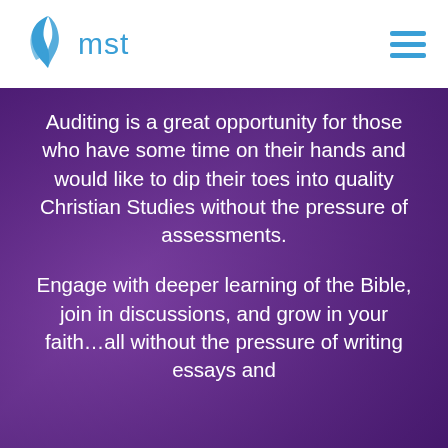[Figure (logo): MST logo with blue leaf/flame icon and 'mst' text in blue]
Auditing is a great opportunity for those who have some time on their hands and would like to dip their toes into quality Christian Studies without the pressure of assessments.
Engage with deeper learning of the Bible, join in discussions, and grow in your faith…all without the pressure of writing essays and